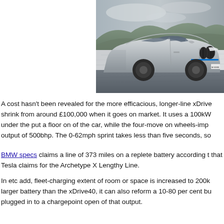[Figure (photo): BMW iX electric SUV driving on a road, silver/grey color, photographed from front-right angle with motion blur background suggesting speed]
A cost hasn't been revealed for the more efficacious, longer-line xDrive shrink from around £100,000 when it goes on market. It uses a 100kW under the put a floor on of the car, while the four-move on wheels-imp output of 500bhp. The 0-62mph sprint takes less than five seconds, so
BMW specs claims a line of 373 miles on a replete battery according t that Tesla claims for the Archetype X Lengthy Line.
In etc add, fleet-charging extent of room or space is increased to 200k larger battery than the xDrive40, it can also reform a 10-80 per cent bu plugged in to a chargepoint open of that output.